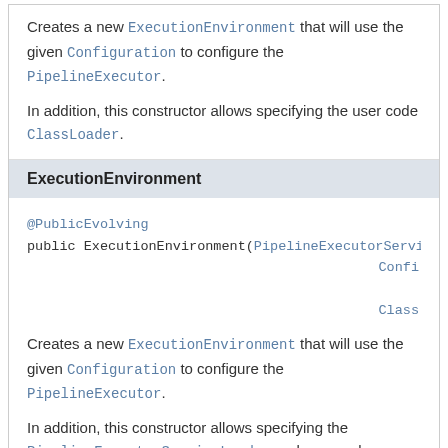Creates a new ExecutionEnvironment that will use the given Configuration to configure the PipelineExecutor.

In addition, this constructor allows specifying the user code ClassLoader.
ExecutionEnvironment
@PublicEvolving
public ExecutionEnvironment(PipelineExecutorServiceLoader, Configuration, ClassLoader)
Creates a new ExecutionEnvironment that will use the given Configuration to configure the PipelineExecutor.

In addition, this constructor allows specifying the PipelineExecutorServiceLoader and user code ClassLoader.